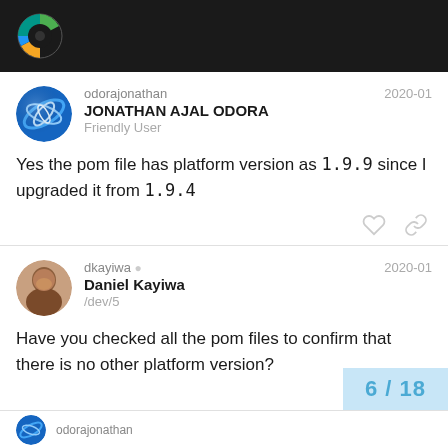Forum header with logo
odorajonathan
JONATHAN AJAL ODORA
Friendly User
2020-01
Yes the pom file has platform version as 1.9.9 since I upgraded it from 1.9.4
dkayiwa
Daniel Kayiwa
/dev/5
2020-01
Have you checked all the pom files to confirm that there is no other platform version?
6 / 18
odorajonathan